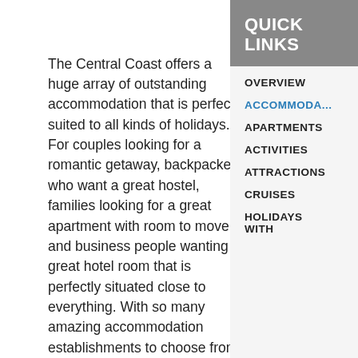The Central Coast offers a huge array of outstanding accommodation that is perfectly suited to all kinds of holidays. For couples looking for a romantic getaway, backpackers who want a great hostel, families looking for a great apartment with room to move and business people wanting a great hotel room that is perfectly situated close to everything. With so many amazing accommodation establishments to choose from, you will be hard pressed to decide upon just one.
QUICK LINKS
OVERVIEW
ACCOMMODA...
APARTMENTS
ACTIVITIES
ATTRACTIONS
CRUISES
HOLIDAYS WITH